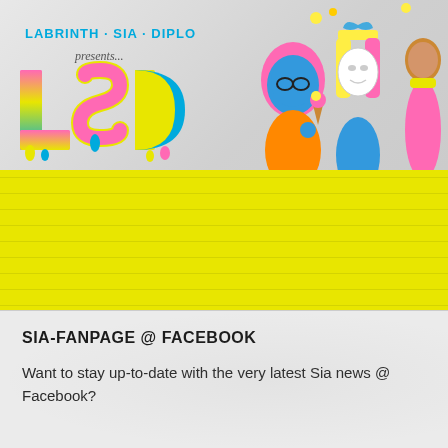[Figure (illustration): LSD (Labrinth, Sia, Diplo) album/project promotional banner with colorful cartoon characters and the LSD logo in pink, yellow and blue dripping letters. Yellow horizontal stripes fill the lower portion of the banner.]
SIA-FANPAGE @ FACEBOOK
Want to stay up-to-date with the very latest Sia news @ Facebook?